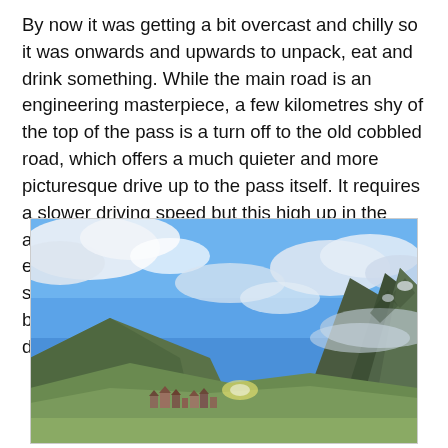By now it was getting a bit overcast and chilly so it was onwards and upwards to unpack, eat and drink something. While the main road is an engineering masterpiece, a few kilometres shy of the top of the pass is a turn off to the old cobbled road, which offers a much quieter and more picturesque drive up to the pass itself. It requires a slower driving speed but this high up in the alpine meadows there really is no other way to experience the Alps. At the top of the pass is a small mountain lake and a cluster of stone buildings including a museum and our destination, the Ospizio San Gottardo.
[Figure (photo): Landscape photo showing a mountain valley with a small cluster of buildings at the base, green slopes, rocky mountain peaks, and a dramatic blue sky with white clouds and some mist around the mountain tops.]